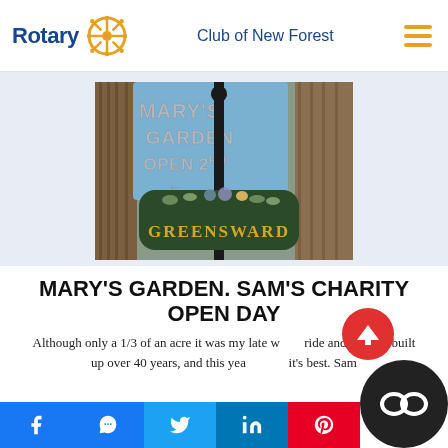Rotary Club of New Forest
[Figure (photo): Photo of a garden gate sign reading 'GREENSWARD' in gold letters on a dark green plaque, with a blue banner above reading 'MARY'S GARDEN OPEN 2 PM' with an arrow, set against a wooden fence.]
MARY'S GARDEN. SAM'S CHARITY OPEN DAY
Although only a 1/3 of an acre it was my late wife's pride and joy and built up over 40 years, and this year it is at it's best. Sam